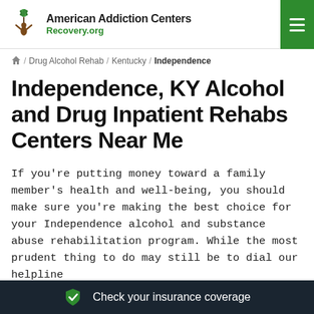American Addiction Centers Recovery.org
/ Drug Alcohol Rehab / Kentucky / Independence
Independence, KY Alcohol and Drug Inpatient Rehabs Centers Near Me
If you’re putting money toward a family member’s health and well-being, you should make sure you’re making the best choice for your Independence alcohol and substance abuse rehabilitation program. While the most prudent thing to do may still be to dial our helpline
Check your insurance coverage